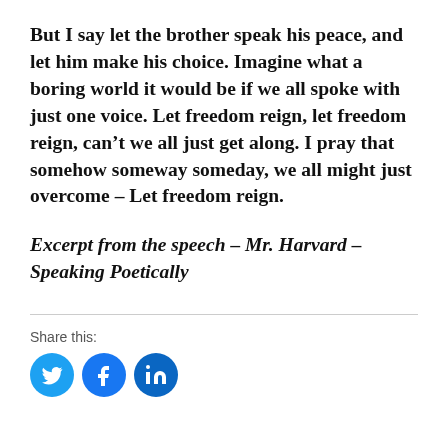But I say let the brother speak his peace, and let him make his choice. Imagine what a boring world it would be if we all spoke with just one voice. Let freedom reign, let freedom reign, can't we all just get along. I pray that somehow someway someday, we all might just overcome – Let freedom reign.
Excerpt from the speech – Mr. Harvard – Speaking Poetically
Share this:
[Figure (infographic): Three circular social media sharing buttons: Twitter (blue bird icon), Facebook (blue f icon), LinkedIn (blue in icon)]